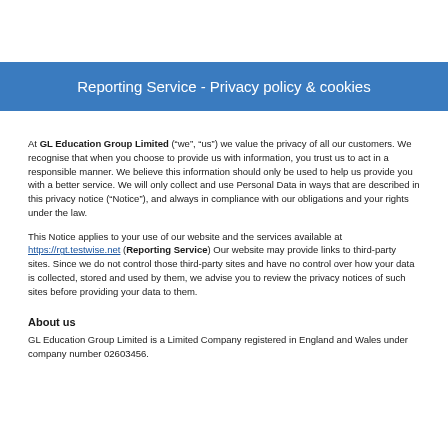Reporting Service - Privacy policy & cookies
At GL Education Group Limited (“we”, “us”) we value the privacy of all our customers. We recognise that when you choose to provide us with information, you trust us to act in a responsible manner. We believe this information should only be used to help us provide you with a better service. We will only collect and use Personal Data in ways that are described in this privacy notice (“Notice”), and always in compliance with our obligations and your rights under the law.
This Notice applies to your use of our website and the services available at https://rgt.testwise.net (Reporting Service) Our website may provide links to third-party sites. Since we do not control those third-party sites and have no control over how your data is collected, stored and used by them, we advise you to review the privacy notices of such sites before providing your data to them.
About us
GL Education Group Limited is a Limited Company registered in England and Wales under company number 02603456.